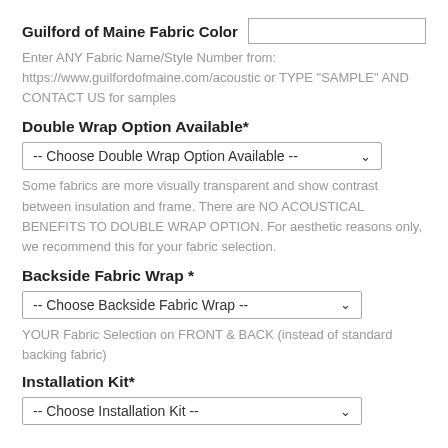Guilford of Maine Fabric Color
Enter ANY Fabric Name/Style Number from:
https://www.guilfordofmaine.com/acoustic or TYPE "SAMPLE" AND CONTACT US for samples
Double Wrap Option Available*
-- Choose Double Wrap Option Available --
Some fabrics are more visually transparent and show contrast between insulation and frame. There are NO ACOUSTICAL BENEFITS TO DOUBLE WRAP OPTION. For aesthetic reasons only, we recommend this for your fabric selection.
Backside Fabric Wrap *
-- Choose Backside Fabric Wrap --
YOUR Fabric Selection on FRONT & BACK (instead of standard backing fabric)
Installation Kit*
-- Choose Installation Kit --